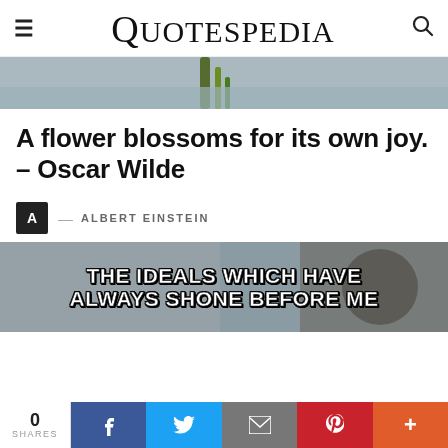QUOTESPEDIA
[Figure (photo): Cropped bottom of a nature/plant photo showing green stem against grey background]
A flower blossoms for its own joy. – Oscar Wilde
A — ALBERT EINSTEIN
[Figure (photo): Banner image with text: THE IDEALS WHICH HAVE ALWAYS SHONE BEFORE ME, overlaid on a dark photo background]
0 SHARES | f | tweet | email | pinterest | +